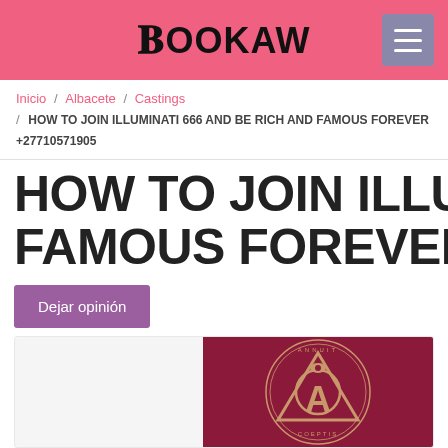BOOKAW
Inicio / Albacete / Castings / HOW TO JOIN ILLUMINATI 666 AND BE RICH AND FAMOUS FOREVER +27710571905
HOW TO JOIN ILLUMINATI 666 AND BE RICH AND FAMOUS FOREVER +27710571905
Dejar opinión
[Figure (illustration): Illuminati symbol — a gold triangular emblem with an eye inside on a dark red/crimson circular seal with Latin text around the border]